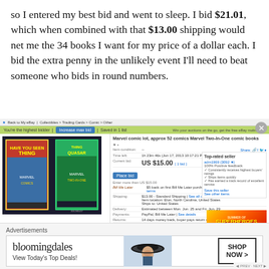so I entered my best bid and went to sleep. I bid $21.01, which when combined with that $13.00 shipping would net me the 34 books I want for my price of a dollar each. I bid the extra penny in the unlikely event I'll need to beat someone who bids in round numbers.
[Figure (screenshot): eBay auction screenshot showing a Marvel comic lot listing (approx 52 comics Marvel Two-In-One comic books) with current bid of US $15.00, $13.00 standard shipping, showing two comic book covers (Thing) and a Top-rated seller badge. Green bar shows 'You're the highest bidder' and blue 'Increase max bid' button.]
Advertisements
[Figure (photo): Bloomingdale's advertisement banner showing 'bloomingdales View Today's Top Deals!' with a woman wearing a large hat, and a 'SHOP NOW >' button]